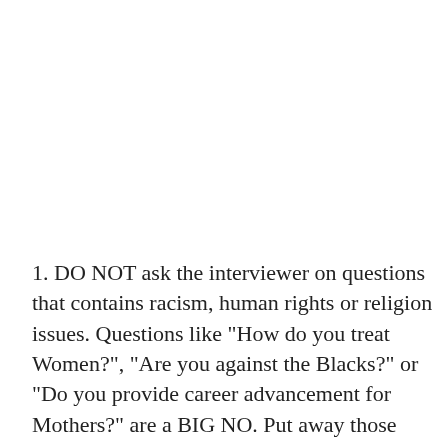1. DO NOT ask the interviewer on questions that contains racism, human rights or religion issues. Questions like "How do you treat Women?", "Are you against the Blacks?" or "Do you provide career advancement for Mothers?" are a BIG NO. Put away those questions. While it is important to understand company policies in this regard, you do not want to look too aggressive. Do some research online, talk to others about the company. If you are